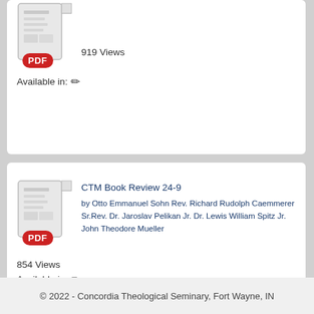919 Views
Available in: ✏
CTM Book Review 24-9
by Otto Emmanuel Sohn Rev. Richard Rudolph Caemmerer Sr.Rev. Dr. Jaroslav Pelikan Jr. Dr. Lewis William Spitz Jr. John Theodore Mueller
854 Views
Available in: ✏
© 2022 - Concordia Theological Seminary, Fort Wayne, IN